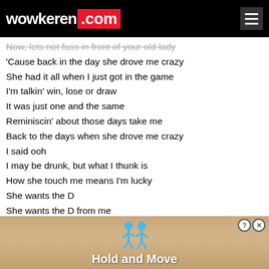wowkeren.com
Now, lets not fuss in front of your old lady
'Cause back in the day she drove me crazy
She had it all when I just got in the game
I'm talkin' win, lose or draw
It was just one and the same
Reminiscin' about those days take me
Back to the days when she drove me crazy
I said ooh
I may be drunk, but what I thunk is
How she touch me means I'm lucky
She wants the D
She wants the D from me
And I said ooh
With all that junk up in her trunk
It still got room for me to stuff it
She wa
She wa
[Figure (screenshot): Advertisement overlay showing animated figures and text 'Hold and Move' with a close button]